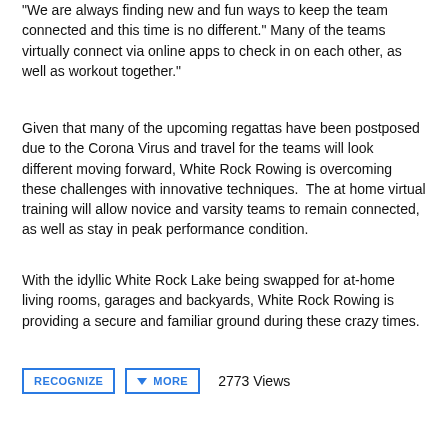“We are always finding new and fun ways to keep the team connected and this time is no different.” Many of the teams virtually connect via online apps to check in on each other, as well as workout together.”
Given that many of the upcoming regattas have been postposed due to the Corona Virus and travel for the teams will look different moving forward, White Rock Rowing is overcoming these challenges with innovative techniques.  The at home virtual training will allow novice and varsity teams to remain connected, as well as stay in peak performance condition.
With the idyllic White Rock Lake being swapped for at-home living rooms, garages and backyards, White Rock Rowing is providing a secure and familiar ground during these crazy times.
RECOGNIZE   MORE   2773 Views